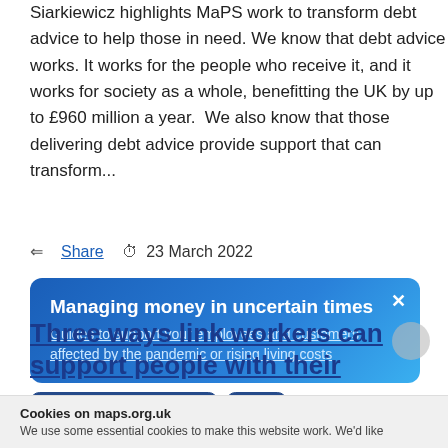Siarkiewicz highlights MaPS work to transform debt advice to help those in need. We know that debt advice works. It works for the people who receive it, and it works for society as a whole, benefitting the UK by up to £960 million a year.  We also know that those delivering debt advice provide support that can transform...
Share   23 March 2022
[Figure (infographic): Blue gradient popup banner titled 'Managing money in uncertain times' with subtitle link 'Guides to support your employees and customers affected by the pandemic or rising living costs' and a close (×) button]
FINANCIAL WELLBEING BLOG   NEWS
Three ways link workers can support people with their
Cookies on maps.org.uk
We use some essential cookies to make this website work. We'd like